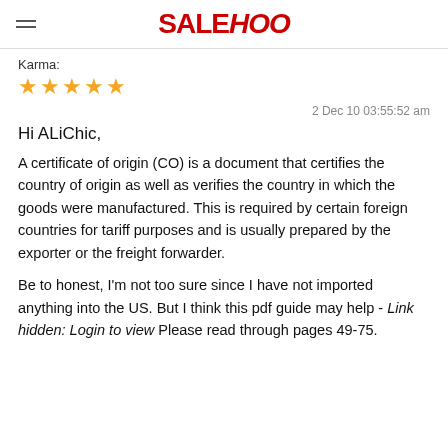SALEHOO
Karma:
★★★★★
2 Dec 10 03:55:52 am
Hi ALiChic,
A certificate of origin (CO) is a document that certifies the country of origin as well as verifies the country in which the goods were manufactured. This is required by certain foreign countries for tariff purposes and is usually prepared by the exporter or the freight forwarder.
Be to honest, I'm not too sure since I have not imported anything into the US. But I think this pdf guide may help - Link hidden: Login to view Please read through pages 49-75.